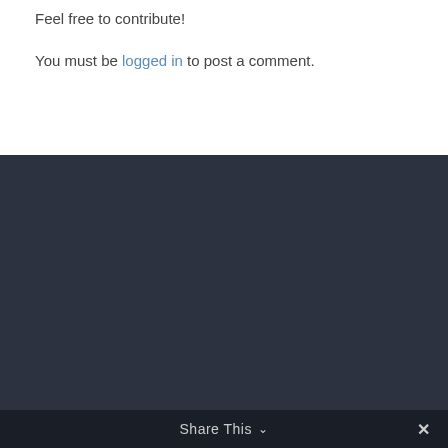Feel free to contribute!
You must be logged in to post a comment.
Share This ∨  ✕